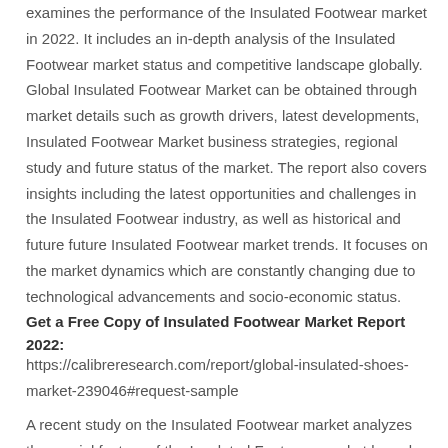examines the performance of the Insulated Footwear market in 2022. It includes an in-depth analysis of the Insulated Footwear market status and competitive landscape globally. Global Insulated Footwear Market can be obtained through market details such as growth drivers, latest developments, Insulated Footwear Market business strategies, regional study and future status of the market. The report also covers insights including the latest opportunities and challenges in the Insulated Footwear industry, as well as historical and future future Insulated Footwear market trends. It focuses on the market dynamics which are constantly changing due to technological advancements and socio-economic status.
Get a Free Copy of Insulated Footwear Market Report 2022:
https://calibreresearch.com/report/global-insulated-shoes-market-239046#request-sample
A recent study on the Insulated Footwear market analyzes the crucial factors of the Insulated Footwear market based on the